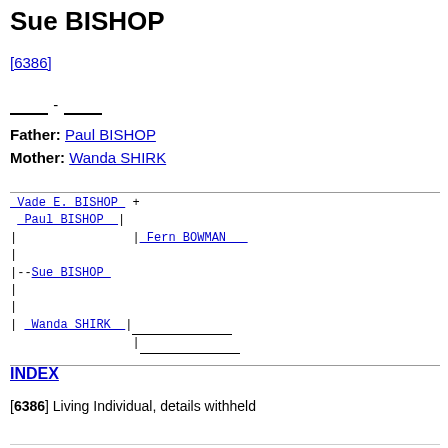Sue BISHOP
[6386]
_____ - _____
Father: Paul BISHOP
Mother: Wanda SHIRK
[Figure (other): Genealogy pedigree tree showing Sue BISHOP connected to parents Paul BISHOP and Wanda SHIRK, and grandparents Vade E. BISHOP (+) and Fern BOWMAN, with blank entries on maternal side]
INDEX
[6386] Living Individual, details withheld